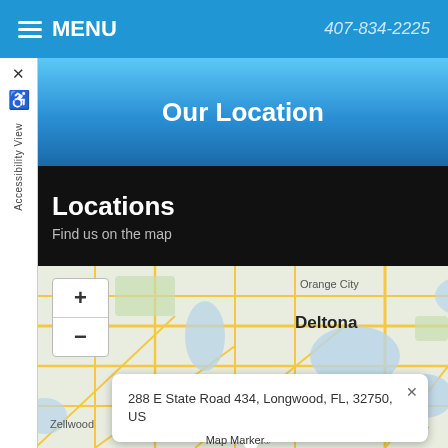MENU   407-834-2225
Our Location
Locations
Find us on the map
[Figure (map): Interactive map showing Deltona, Sanford, Orange City, Zellwood, Geneva area with map marker near Longwood, FL. Zoom in (+) and zoom out (-) controls visible. Address popup: 288 E State Road 434, Longwood, FL, 32750, US]
288 E State Road 434, Longwood, FL, 32750, US
Map Marker